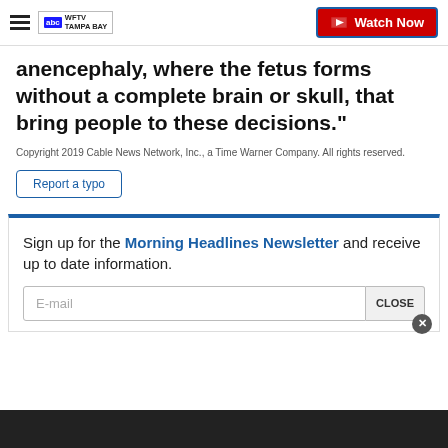WFTV TAMPA BAY | Watch Now
anencephaly, where the fetus forms without a complete brain or skull, that bring people to these decisions."
Copyright 2019 Cable News Network, Inc., a Time Warner Company. All rights reserved.
Report a typo
Sign up for the Morning Headlines Newsletter and receive up to date information.
E-mail